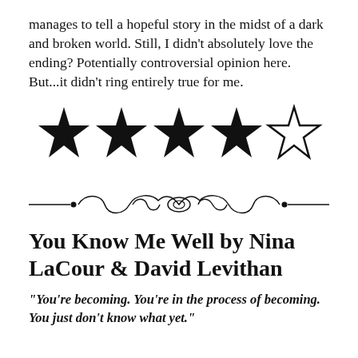manages to tell a hopeful story in the midst of a dark and broken world. Still, I didn't absolutely love the ending? Potentially controversial opinion here. But...it didn't ring entirely true for me.
[Figure (infographic): Four filled black stars and one empty/outline star, representing a 4 out of 5 star rating]
[Figure (illustration): Decorative ornamental divider with scrollwork and flourishes]
You Know Me Well by Nina LaCour & David Levithan
“You’re becoming. You’re in the process of becoming. You just don’t know what yet.”